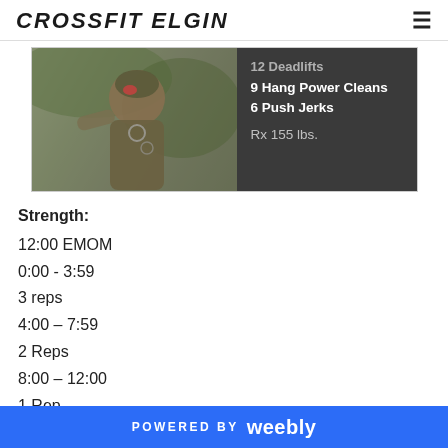CROSSFIT ELGIN
[Figure (photo): Photo of a soldier in tactical gear on the left half; dark grey panel on the right listing workout: 12 Deadlifts, 9 Hang Power Cleans, 6 Push Jerks, Rx 155 lbs.]
Strength:
12:00 EMOM
0:00 - 3:59
3 reps
4:00 – 7:59
2 Reps
8:00 – 12:00
1 Rep
POWERED BY weebly